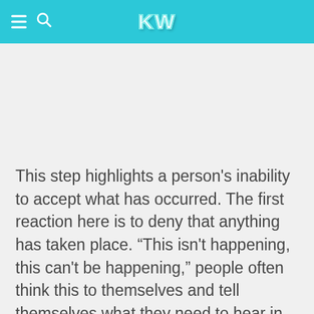KW
This step highlights a person's inability to accept what has occurred. The first reaction here is to deny that anything has taken place. “This isn't happening, this can't be happening,” people often think this to themselves and tell themselves what they need to hear in order to cope. It is not abnormal to rationalize overwhelming emotions. It is a defense